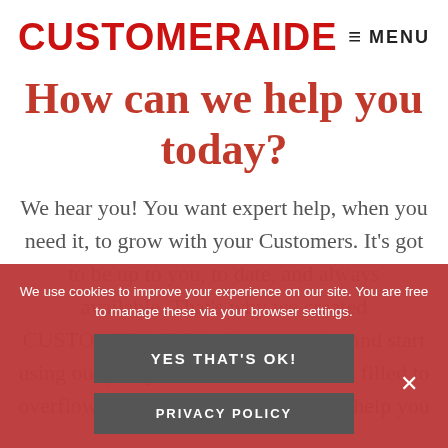CUSTOMERAIDE
≡ MENU
How can we help you today?
We hear you! You want expert help, when you need it, to grow with your Customers. It's got to be up to you, to date, and always available. That's why we created CUSTOMERAIDE®. Sign up today and start using our jam packed virtual briefcase filled to overflowing with all the good stuff to help you
We use cookies to improve your experience on our site. You are free to manage these via your browser settings.
YES THAT'S OK!
PRIVACY POLICY